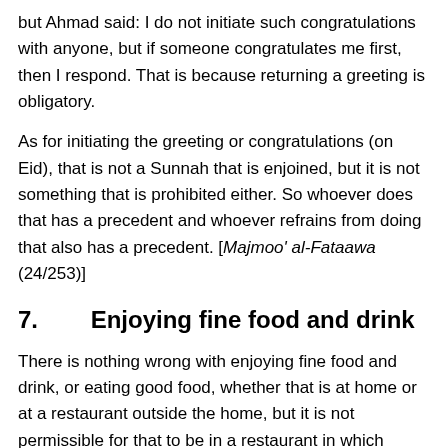but Ahmad said: I do not initiate such congratulations with anyone, but if someone congratulates me first, then I respond. That is because returning a greeting is obligatory.
As for initiating the greeting or congratulations (on Eid), that is not a Sunnah that is enjoined, but it is not something that is prohibited either. So whoever does that has a precedent and whoever refrains from doing that also has a precedent. [Majmoo' al-Fataawa (24/253)]
7.   Enjoying fine food and drink
There is nothing wrong with enjoying fine food and drink, or eating good food, whether that is at home or at a restaurant outside the home, but it is not permissible for that to be in a restaurant in which alcohol is served, or a restaurant in which music is played or in which men can see non-mahram woman.
In some countries it may be better to go for a trip on land